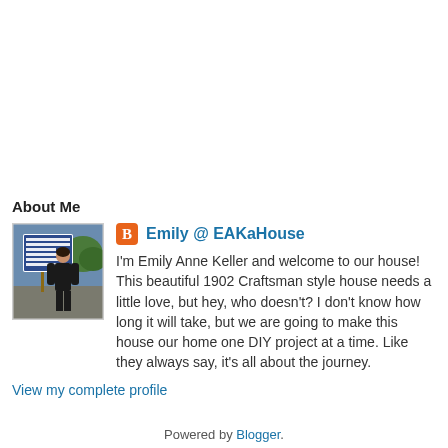About Me
[Figure (photo): Profile photo of Emily standing outdoors next to a real estate sign, wearing black clothing]
Emily @ EAKaHouse
I'm Emily Anne Keller and welcome to our house! This beautiful 1902 Craftsman style house needs a little love, but hey, who doesn't? I don't know how long it will take, but we are going to make this house our home one DIY project at a time. Like they always say, it's all about the journey.
View my complete profile
Powered by Blogger.